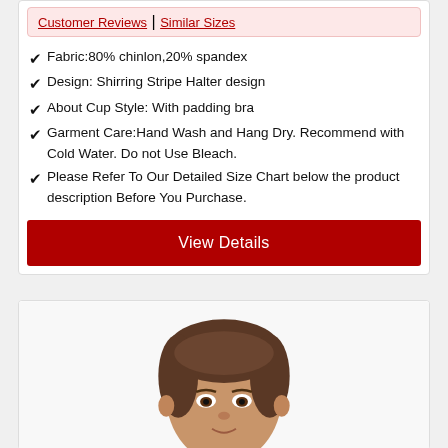Customer Reviews | Similar Sizes
Fabric:80% chinlon,20% spandex
Design: Shirring Stripe Halter design
About Cup Style: With padding bra
Garment Care:Hand Wash and Hang Dry. Recommend with Cold Water. Do not Use Bleach.
Please Refer To Our Detailed Size Chart below the product description Before You Purchase.
View Details
[Figure (photo): Photo of a woman from shoulders up, dark hair pulled back, looking at the camera, white background.]